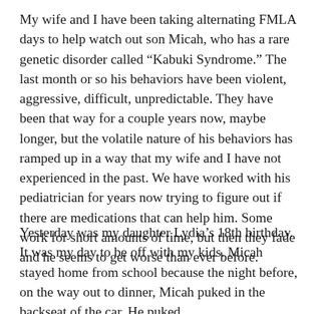My wife and I have been taking alternating FMLA days to help watch out son Micah, who has a rare genetic disorder called “Kabuki Syndrome.” The last month or so his behaviors have been violent, aggressive, difficult, unpredictable. They have been that way for a couple years now, maybe longer, but the volatile nature of his behaviors has ramped up in a way that my wife and I have not experienced in the past. We have worked with his pediatrician for years now trying to figure out if there are medications that can help him. Some work for short amounts of time, but then they fade and he seems to get worse than ever before.
Yesterday was my daughter Lydia’s 18th birthday. It was my day to be off with my kids. Micah stayed home from school because the night before, on the way out to dinner, Micah puked in the backseat of the car. He puked